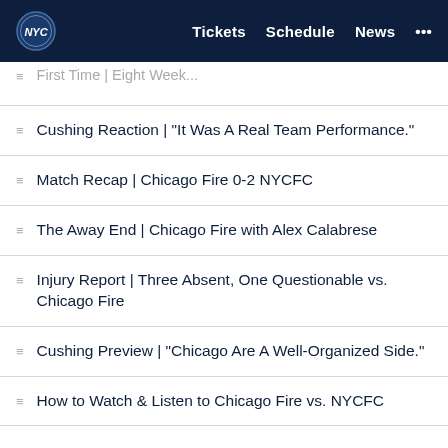NYCFC — Tickets  Schedule  News  ...
[partial] ...First Time | Eight Week
Cushing Reaction | "It Was A Real Team Performance."
Match Recap | Chicago Fire 0-2 NYCFC
The Away End | Chicago Fire with Alex Calabrese
Injury Report | Three Absent, One Questionable vs. Chicago Fire
Cushing Preview | "Chicago Are A Well-Organized Side."
How to Watch & Listen to Chicago Fire vs. NYCFC